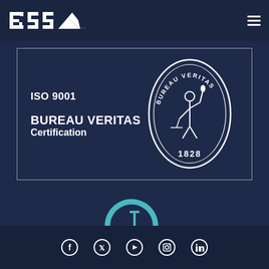BSS logo and navigation menu
[Figure (logo): ISO 9001 Bureau Veritas Certification badge with seal logo dated 1828]
[Figure (logo): CT Certified logo with teal circular C and T mark, text CERTIFIED below]
Social media icons: Facebook, Twitter, YouTube, Instagram, LinkedIn